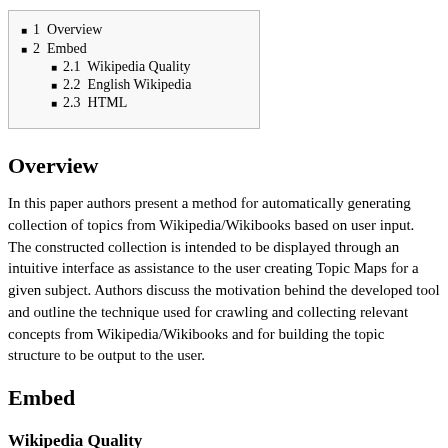1  Overview
2  Embed
2.1  Wikipedia Quality
2.2  English Wikipedia
2.3  HTML
Overview
In this paper authors present a method for automatically generating collection of topics from Wikipedia/Wikibooks based on user input. The constructed collection is intended to be displayed through an intuitive interface as assistance to the user creating Topic Maps for a given subject. Authors discuss the motivation behind the developed tool and outline the technique used for crawling and collecting relevant concepts from Wikipedia/Wikibooks and for building the topic structure to be output to the user.
Embed
Wikipedia Quality